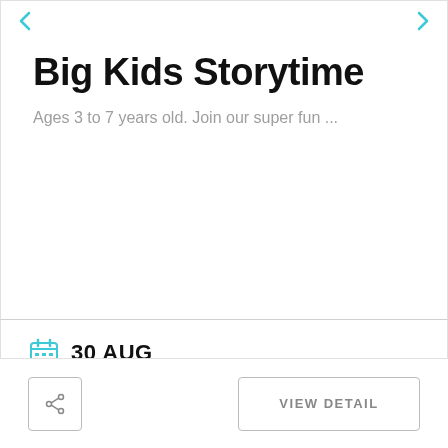Big Kids Storytime
Ages 3 to 7 years old. Join our super fun ...
30 AUG
11:00 AM - 12:00 PM
Fairhope Public Library 501 Fairhope Avenue Fairhope AL 36532
VIEW DETAIL